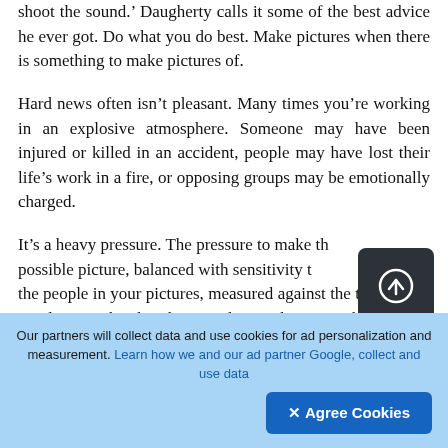shoot the sound.' Daugherty calls it some of the best advice he ever got. Do what you do best. Make pictures when there is something to make pictures of.
Hard news often isn't pleasant. Many times you're working in an explosive atmosphere. Someone may have been injured or killed in an accident, people may have lost their life's work in a fire, or opposing groups may be emotionally charged.
It's a heavy pressure. The pressure to make the best possible picture, balanced with sensitivity to the people in your pictures, measured against the thin line of involvement by the photographer. Pisberg says he depends on his instincts as he
[Figure (other): Dark rounded square button with a circled upload/navigate arrow icon]
Our partners will collect data and use cookies for ad personalization and measurement. Learn how we and our ad partner Google, collect and use data
✕ Agree Cookies